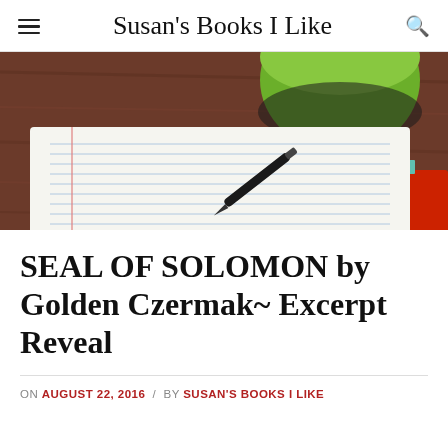Susan's Books I Like
[Figure (photo): Overhead photo of an open lined notebook with a pen on it, a green cup in the upper portion, on a wooden table surface]
SEAL OF SOLOMON by Golden Czermak~ Excerpt Reveal
ON AUGUST 22, 2016 / BY SUSAN'S BOOKS I LIKE